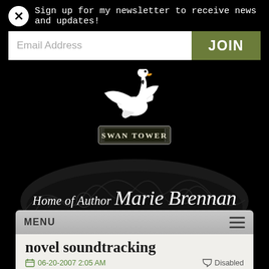Sign up for my newsletter to receive news and updates!
[Figure (screenshot): Swan Tower website header with white swan logo and 'SWAN TOWER' banner, decorative dark floral background, 'Home of Author Marie Brennan' in italic serif text]
MENU
novel soundtracking
06-20-2007 2:05 AM   Disabled
I'm not sleepy yet, so you get another post about writing